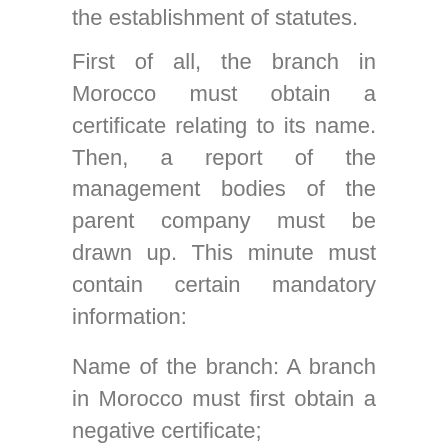the establishment of statutes.
First of all, the branch in Morocco must obtain a certificate relating to its name. Then, a report of the management bodies of the parent company must be drawn up. This minute must contain certain mandatory information:
Name of the branch: A branch in Morocco must first obtain a negative certificate;
Head office of the branch in Morocco: It should be noted that branches can benefit from a domiciliation ;
Legal representative in Morocco who